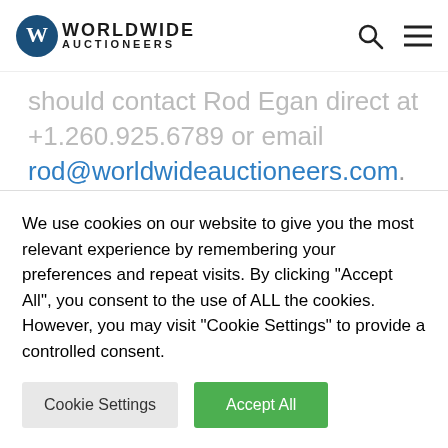Worldwide Auctioneers
should contact Rod Egan direct at +1.260.925.6789 or email rod@worldwideauctioneers.com. The Salon is a purpose-built, 200,000 square-foot climate-controlled showroom housed at Worldwide's expansive Auburn, Indiana headquarters, dedicated to the needs of those seeking to buy or sell a car or collection privately, with
We use cookies on our website to give you the most relevant experience by remembering your preferences and repeat visits. By clicking "Accept All", you consent to the use of ALL the cookies. However, you may visit "Cookie Settings" to provide a controlled consent.
Cookie Settings | Accept All